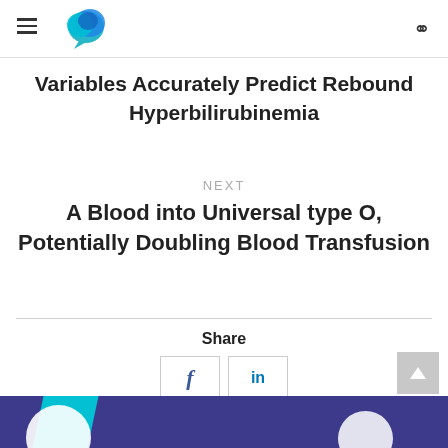Variables Accurately Predict Rebound Hyperbilirubinemia
NEXT
A Blood into Universal type O, Potentially Doubling Blood Transfusion
Share
[Figure (other): Social sharing buttons: Facebook (f) and LinkedIn (in)]
[Figure (other): Bottom banner with purple background and cyan/white graphic elements]